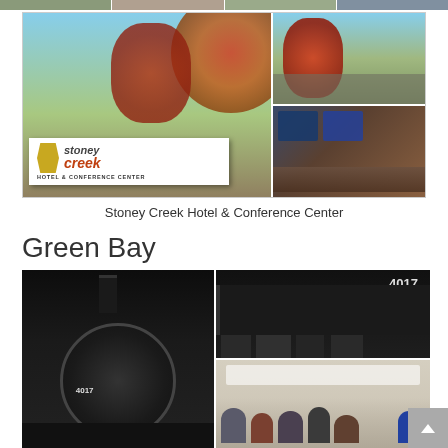[Figure (photo): Top strip of small photos partially visible at top of page]
[Figure (photo): Stoney Creek Hotel & Conference Center sign with autumn trees, outdoor parking area, and indoor fireplace lounge area]
Stoney Creek Hotel & Conference Center
Green Bay
[Figure (photo): Large steam locomotive 4017 photographed from front in dark setting; people standing near locomotive 4017; people seated in a presentation/meeting room]